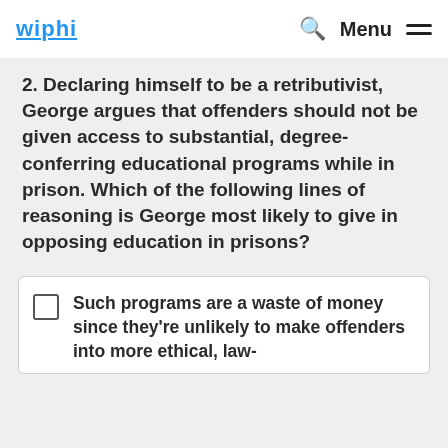wiphi | Menu
2. Declaring himself to be a retributivist, George argues that offenders should not be given access to substantial, degree-conferring educational programs while in prison. Which of the following lines of reasoning is George most likely to give in opposing education in prisons?
Such programs are a waste of money since they're unlikely to make offenders into more ethical, law-